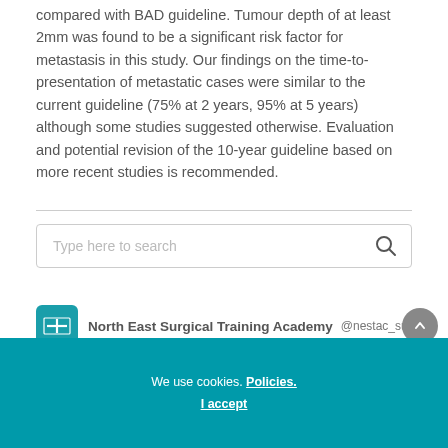compared with BAD guideline. Tumour depth of at least 2mm was found to be a significant risk factor for metastasis in this study. Our findings on the time-to-presentation of metastatic cases were similar to the current guideline (75% at 2 years, 95% at 5 years) although some studies suggested otherwise. Evaluation and potential revision of the 10-year guideline based on more recent studies is recommended.
[Figure (screenshot): Search bar with placeholder text 'Type here to search' and search icon on the right]
[Figure (screenshot): Organization bar showing North East Surgical Training Academy logo, name, and @nestac_surgical handle]
We use cookies. Policies.
I accept